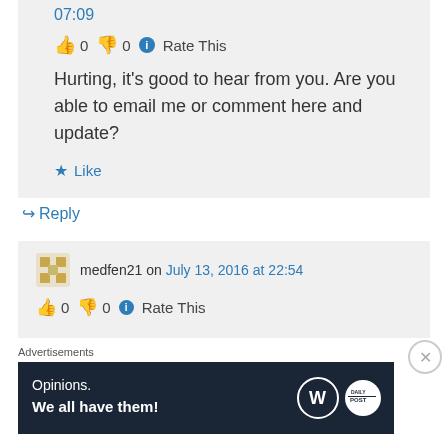07:09
👍 0 👎 0 ℹ️ Rate This
Hurting, it's good to hear from you. Are you able to email me or comment here and update?
★ Like
↪ Reply
medfen21 on July 13, 2016 at 22:54
👍 0 👎 0 ℹ️ Rate This
Advertisements
[Figure (other): Wordpress advertisement banner: 'Opinions. We all have them!' with WordPress and Daily Post logos on dark navy background]